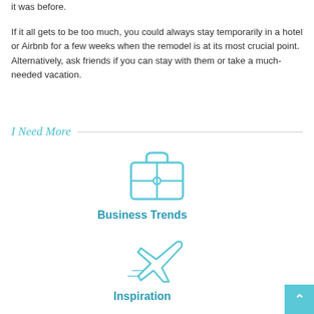it was before.
If it all gets to be too much, you could always stay temporarily in a hotel or Airbnb for a few weeks when the remodel is at its most crucial point. Alternatively, ask friends if you can stay with them or take a much-needed vacation.
I Need More
[Figure (illustration): Briefcase icon in light teal outline style]
Business Trends
[Figure (illustration): Airplane icon in light teal outline style]
Inspiration